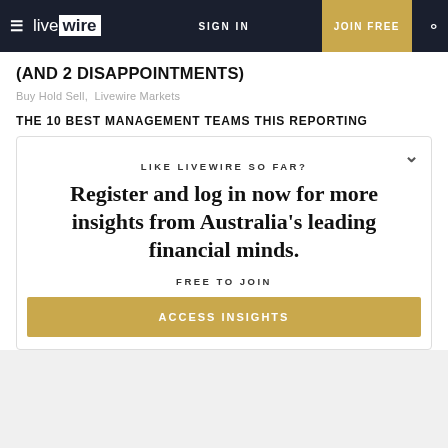live wire | SIGN IN | JOIN FREE
(AND 2 DISAPPOINTMENTS)
Buy Hold Sell, Livewire Markets
THE 10 BEST MANAGEMENT TEAMS THIS REPORTING
LIKE LIVEWIRE SO FAR?
Register and log in now for more insights from Australia's leading financial minds.
FREE TO JOIN
ACCESS INSIGHTS